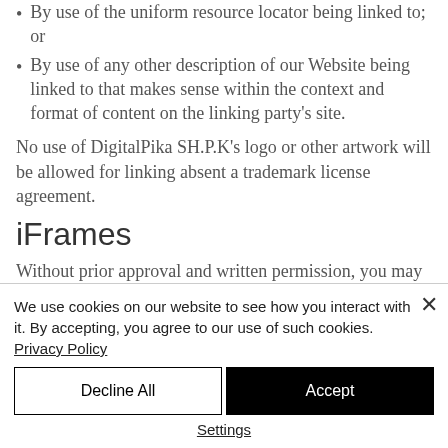By use of the uniform resource locator being linked to; or
By use of any other description of our Website being linked to that makes sense within the context and format of content on the linking party's site.
No use of DigitalPika SH.P.K's logo or other artwork will be allowed for linking absent a trademark license agreement.
iFrames
Without prior approval and written permission, you may not create frames
We use cookies on our website to see how you interact with it. By accepting, you agree to our use of such cookies. Privacy Policy
Decline All
Accept
Settings